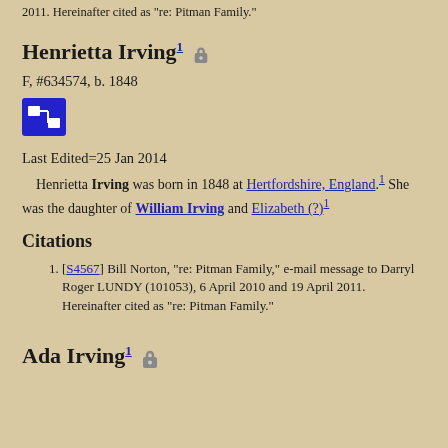2011. Hereinafter cited as "re: Pitman Family."
Henrietta Irving¹ 🔒
F, #634574, b. 1848
[Figure (other): Blue chart/relationship icon button]
Last Edited=25 Jan 2014
Henrietta Irving was born in 1848 at Hertfordshire, England.¹ She was the daughter of William Irving and Elizabeth (?).¹
Citations
[S4567] Bill Norton, "re: Pitman Family," e-mail message to Darryl Roger LUNDY (101053), 6 April 2010 and 19 April 2011. Hereinafter cited as "re: Pitman Family."
Ada Irving¹ 🔒